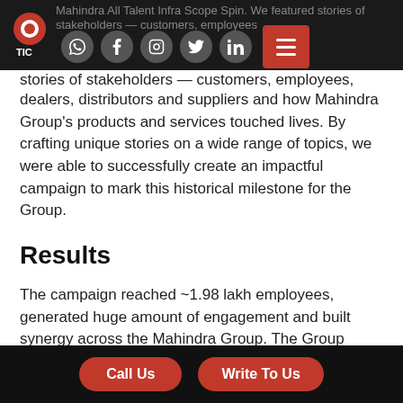Mahindra All Talent Infra Scope Spin — navigation bar with social icons and menu
stories of stakeholders — customers, employees, dealers, distributors and suppliers and how Mahindra Group's products and services touched lives. By crafting unique stories on a wide range of topics, we were able to successfully create an impactful campaign to mark this historical milestone for the Group.
Results
The campaign reached ~1.98 lakh employees, generated huge amount of engagement and built synergy across the Mahindra Group. The Group distributed these stories on multiple platforms including Mahindra's weekly newsletter, Echo, all of the Group's social media channels, Newsroom, intranet spotlight and sent it out as
Call Us   Write To Us